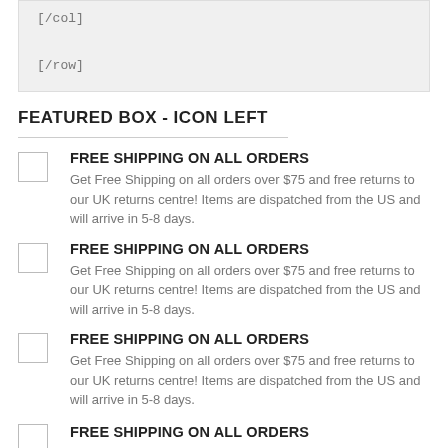[/col]

[/row]
FEATURED BOX - ICON LEFT
FREE SHIPPING ON ALL ORDERS
Get Free Shipping on all orders over $75 and free returns to our UK returns centre! Items are dispatched from the US and will arrive in 5-8 days.
FREE SHIPPING ON ALL ORDERS
Get Free Shipping on all orders over $75 and free returns to our UK returns centre! Items are dispatched from the US and will arrive in 5-8 days.
FREE SHIPPING ON ALL ORDERS
Get Free Shipping on all orders over $75 and free returns to our UK returns centre! Items are dispatched from the US and will arrive in 5-8 days.
FREE SHIPPING ON ALL ORDERS